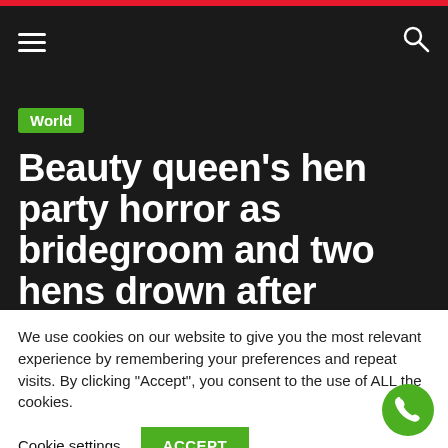Navigation bar with hamburger menu and search icon
World
Beauty queen’s hen party horror as bridegroom and two hens drown after bridge collapse – World
We use cookies on our website to give you the most relevant experience by remembering your preferences and repeat visits. By clicking “Accept”, you consent to the use of ALL the cookies.
Cookie settings | ACCEPT